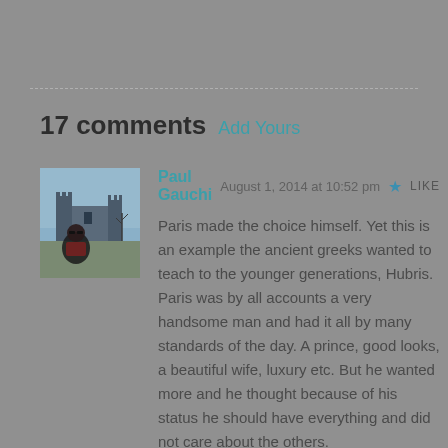17 comments  Add Yours
[Figure (photo): Profile photo of Paul Gauchi — a man in sunglasses in front of a castle]
Paul Gauchi   August 1, 2014 at 10:52 pm  LIKE
Paris made the choice himself. Yet this is an example the ancient greeks wanted to teach to the younger generations, Hubris. Paris was by all accounts a very handsome man and had it all by many standards of the day. A prince, good looks, a beautiful wife, luxury etc. But he wanted more and he thought because of his status he should have everything and did not care about the others.